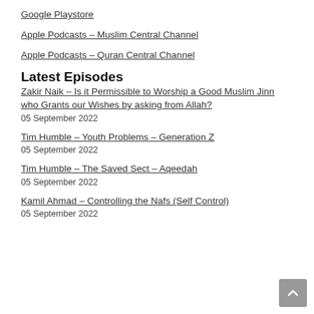Google Playstore
Apple Podcasts – Muslim Central Channel
Apple Podcasts – Quran Central Channel
Latest Episodes
Zakir Naik – Is it Permissible to Worship a Good Muslim Jinn who Grants our Wishes by asking from Allah?
05 September 2022
Tim Humble – Youth Problems – Generation Z
05 September 2022
Tim Humble – The Saved Sect – Aqeedah
05 September 2022
Kamil Ahmad – Controlling the Nafs (Self Control)
05 September 2022